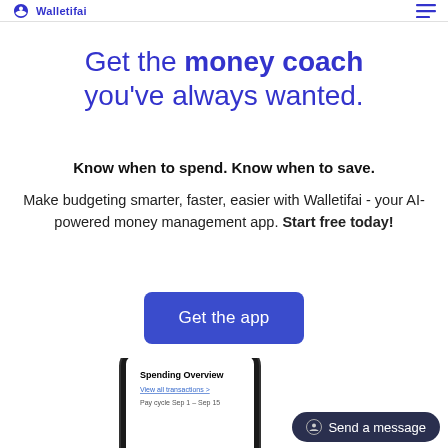Walletifai
Get the money coach you've always wanted.
Know when to spend. Know when to save.
Make budgeting smarter, faster, easier with Walletifai - your AI-powered money management app. Start free today!
[Figure (screenshot): Blue 'Get the app' button]
[Figure (screenshot): Partial view of a smartphone showing Spending Overview screen with Send a message chat button overlay]